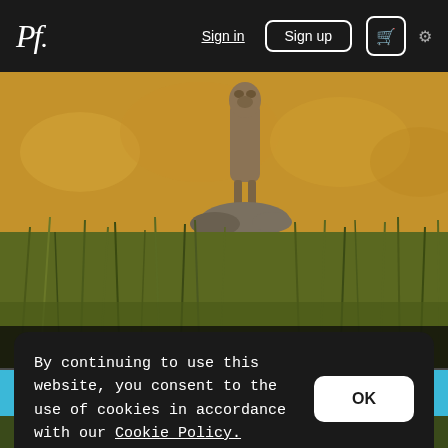Pf. | Sign in | Sign up | Cart | Settings
[Figure (photo): Wildlife photo of a meerkat standing upright on a rock in golden grassland, shot from ground level with bokeh golden grass background, by Natalia Castanheira]
by Natalia Castanheira
$21.50
By continuing to use this website, you consent to the use of cookies in accordance with our Cookie Policy.
[Figure (photo): Partial wildlife photo visible at bottom of page]